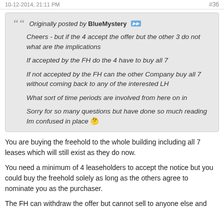#36
Originally posted by BlueMystery
Cheers - but if the 4 accept the offer but the other 3 do not what are the implications

If accepted by the FH do the 4 have to buy all 7

If not accepted by the FH can the other Company buy all 7 without coming back to any of the interested LH

What sort of time periods are involved from here on in

Sorry for so many questions but have done so much reading Im confused in place 🤔
You are buying the freehold to the whole building including all 7 leases which will still exist as they do now.
You need a minimum of 4 leaseholders to accept the notice but you could buy the freehold solely as long as the others agree to nominate you as the purchaser.
The FH can withdraw the offer but cannot sell to anyone else and could re-offer, not sooner than 5 years from when they started before